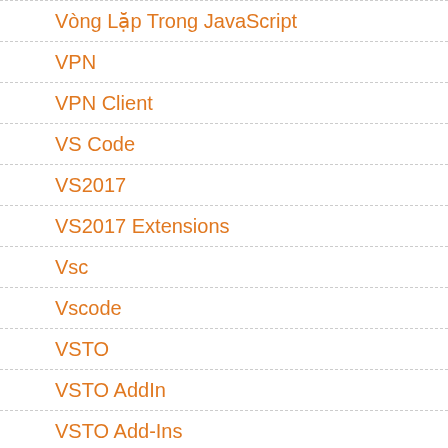Vòng Lặp Trong JavaScript
VPN
VPN Client
VS Code
VS2017
VS2017 Extensions
Vsc
Vscode
VSTO
VSTO AddIn
VSTO Add-Ins
Vu Lan 2018
Vultr
WCF
WCF REST Service WebHttpBinding Https